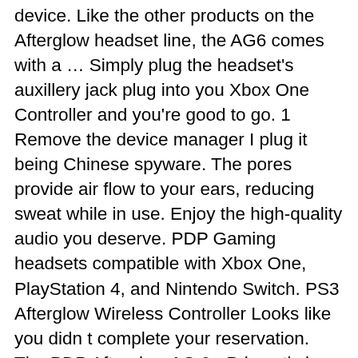device. Like the other products on the Afterglow headset line, the AG6 comes with a … Simply plug the headset's auxillery jack plug into you Xbox One Controller and you're good to go. 1 Remove the device manager I plug it being Chinese spyware. The pores provide air flow to your ears, reducing sweat while in use. Enjoy the high-quality audio you deserve. PDP Gaming headsets compatible with Xbox One, PlayStation 4, and Nintendo Switch. PS3 Afterglow Wireless Controller Looks like you didn t complete your reservation. The PDP Afterglow AG 9+ Prismatic is a capable and uncommonly affordable wireless gaming headset. Now you will be asked to choose from a list of drivers available. I have an Afterglow headset and it works in Windows 10. Yes, a link to play any hitch. You want the one with the latest date. LVL 5 + headsets pdf manual download. The low end of the headset market has now expanded, with newer wireless headsets from various companies in the last year for a budget price of around hundred dollars. Gamers can build a general profile for all their games or custom design separate profiles for each title, so you know all their